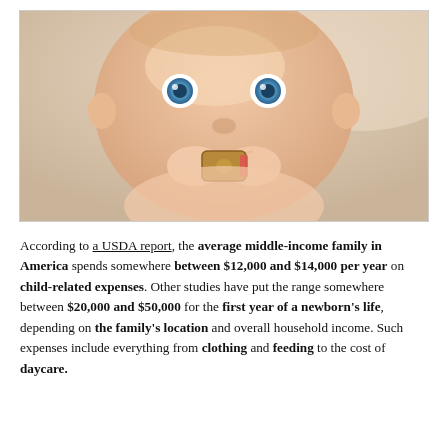[Figure (photo): Close-up photograph of a baby with blue eyes chewing on a wooden toy, shot from slightly above, soft warm background]
According to a USDA report, the average middle-income family in America spends somewhere between $12,000 and $14,000 per year on child-related expenses. Other studies have put the range somewhere between $20,000 and $50,000 for the first year of a newborn's life, depending on the family's location and overall household income. Such expenses include everything from clothing and feeding to the cost of daycare.